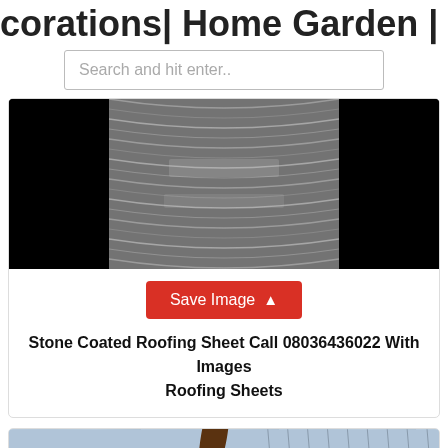corations| Home Garden | Home Far
Search and hit enter..
[Figure (photo): Close-up photo of stone coated roofing sheets, showing textured metallic surface with repeating wave/scale pattern in black and silver tones.]
Save Image
Stone Coated Roofing Sheet Call 08036436022 With Images Roofing Sheets
[Figure (photo): Photo of a ceiling fan with dark brown blades mounted to a corrugated metal roof/ceiling, with wooden beams visible.]